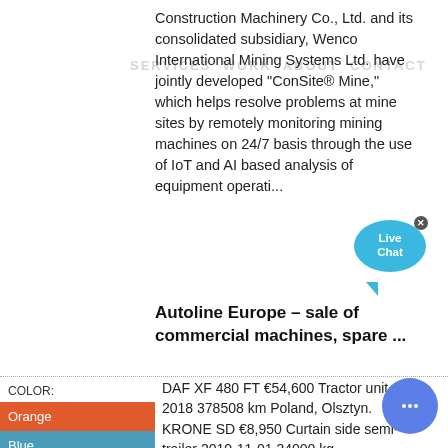Construction Machinery Co., Ltd. and its consolidated subsidiary, Wenco International Mining Systems Ltd. have jointly developed "ConSite® Mine," which helps resolve problems at mine sites by remotely monitoring mining machines on 24/7 basis through the use of IoT and AI based analysis of equipment operati...
Autoline Europe – sale of commercial machines, spare ...
COLOR:
Orange
Blue
Yellow
DAF XF 480 FT €54,600 Tractor unit 2018 378508 km Poland, Olsztyn. KRONE SD €8,950 Curtain side semi-trailer 2010-11-01 34000 kg Netherlands, Vuren. New DONAT V-Type Dry Bulk price on request Cement tank trailer air/air Turkey, KONYA. IVECO daily €8,000 Tow truck 04/2006 365000 km ...